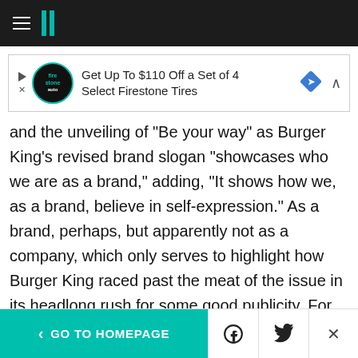HuffPost navigation with hamburger menu and logo
[Figure (other): Advertisement banner: Get Up To $110 Off a Set of 4 Select Firestone Tires with Firestone auto logo and blue diamond icon]
and the unveiling of "Be your way" as Burger King's revised brand slogan "showcases who we are as a brand," adding, "It shows how we, as a brand, believe in self-expression." As a brand, perhaps, but apparently not as a company, which only serves to highlight how Burger King raced past the meat of the issue in its headlong rush for some good publicity. For this promotion to have been meaningful, Burger King should have gotten its own practices in order before
< GO TO HOMEPAGE   [Facebook icon]   [Twitter icon]   X